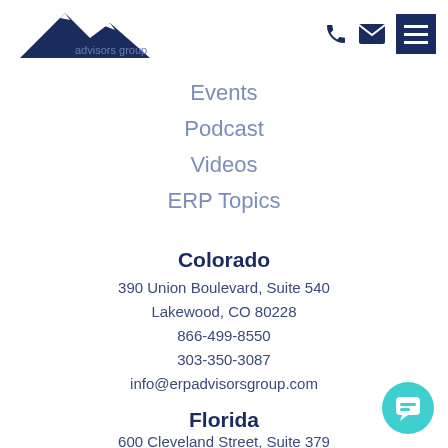[Figure (logo): ERP Advisors Group logo with mountain icon and text]
Events
Podcast
Videos
ERP Topics
Colorado
390 Union Boulevard, Suite 540
Lakewood, CO 80228
866-499-8550
303-350-3087
info@erpadvisorsgroup.com
Florida
600 Cleveland Street, Suite 379